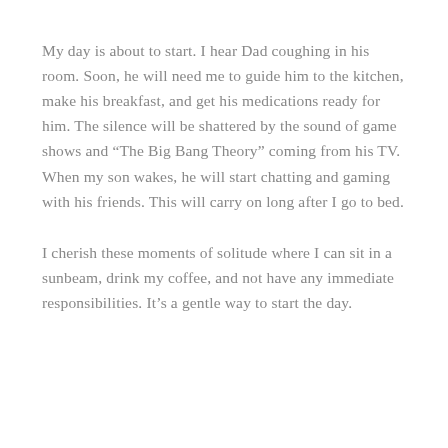My day is about to start. I hear Dad coughing in his room. Soon, he will need me to guide him to the kitchen, make his breakfast, and get his medications ready for him. The silence will be shattered by the sound of game shows and “The Big Bang Theory” coming from his TV. When my son wakes, he will start chatting and gaming with his friends. This will carry on long after I go to bed.
I cherish these moments of solitude where I can sit in a sunbeam, drink my coffee, and not have any immediate responsibilities. It’s a gentle way to start the day.